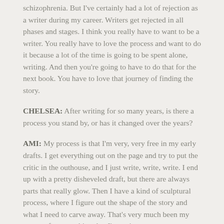schizophrenia. But I've certainly had a lot of rejection as a writer during my career. Writers get rejected in all phases and stages. I think you really have to want to be a writer. You really have to love the process and want to do it because a lot of the time is going to be spent alone, writing. And then you're going to have to do that for the next book. You have to love that journey of finding the story.
CHELSEA: After writing for so many years, is there a process you stand by, or has it changed over the years?
AMI: My process is that I'm very, very free in my early drafts. I get everything out on the page and try to put the critic in the outhouse, and I just write, write, write. I end up with a pretty disheveled draft, but there are always parts that really glow. Then I have a kind of sculptural process, where I figure out the shape of the story and what I need to carve away. That's very much been my process for everything that I've written.